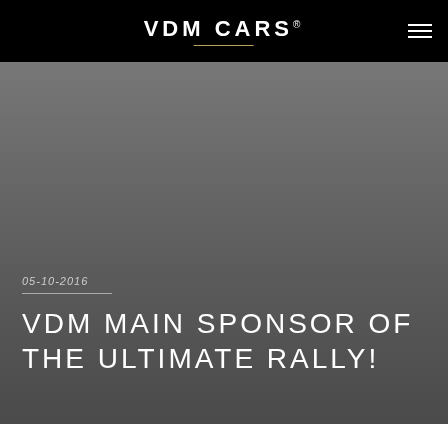VDM CARS®
05-10-2016
VDM MAIN SPONSOR OF THE ULTIMATE RALLY!